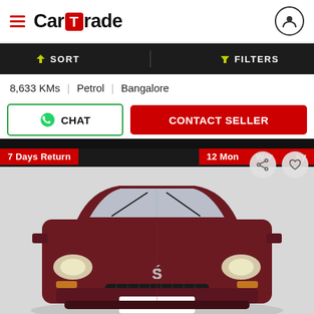CarTrade
SORT   FILTERS
8,633 KMs | Petrol | Bangalore
CHAT   CONTACT SELLER
[Figure (photo): Front view of a dark red Maruti Suzuki Alto K10 car with license plate blurred, shown in a studio/showroom setting. Red overlay badges show '7 Days Return' on the left and '12 Months Warranty' on the right.]